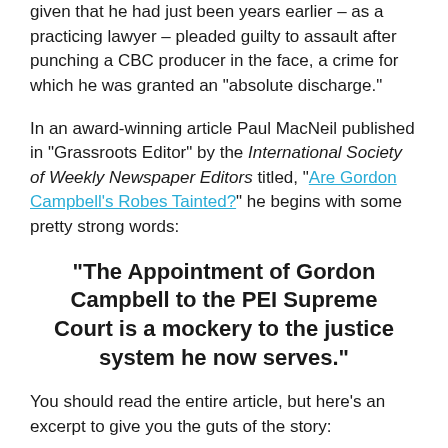given that he had just been years earlier – as a practicing lawyer – pleaded guilty to assault after punching a CBC producer in the face, a crime for which he was granted an "absolute discharge."
In an award-winning article Paul MacNeil published in "Grassroots Editor" by the International Society of Weekly Newspaper Editors titled, "Are Gordon Campbell's Robes Tainted?" he begins with some pretty strong words:
“The Appointment of Gordon Campbell to the PEI Supreme Court is a mockery to the justice system he now serves.”
You should read the entire article, but here’s an excerpt to give you the guts of the story: